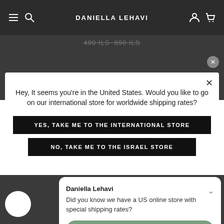DANIELLA LEHAVI
490 ILS 890 ILS
Hey, It seems you're in the United States. Would you like to go on our international store for worldwide shipping rates?
YES, TAKE ME TO THE INTERNATIONAL STORE
NO, TAKE ME TO THE ISRAEL STORE
Daniella Lehavi
Did you know we have a US online store with special shipping rates?
Take me there